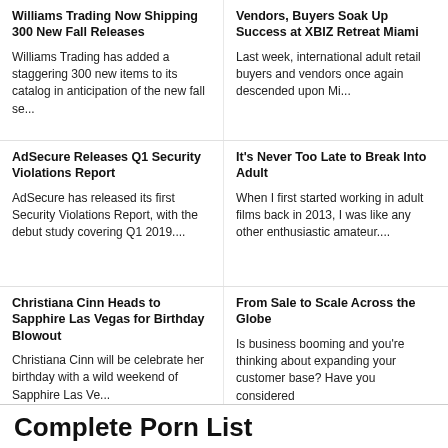Williams Trading Now Shipping 300 New Fall Releases
Williams Trading has added a staggering 300 new items to its catalog in anticipation of the new fall season....
Vendors, Buyers Soak Up Success at XBIZ Retreat Miami
Last week, international adult retail buyers and vendors once again descended upon Miami....
AdSecure Releases Q1 Security Violations Report
AdSecure has released its first Security Violations Report, with the debut study covering Q1 2019....
It's Never Too Late to Break Into Adult
When I first started working in adult films back in 2013, I was like any other enthusiastic amateur....
Christiana Cinn Heads to Sapphire Las Vegas for Birthday Blowout
Christiana Cinn will be celebrate her birthday with a wild weekend of Sapphire Las Vegas....
From Sale to Scale Across the Globe
Is business booming and you're thinking about expanding your customer base? Have you considered...
Complete Porn List